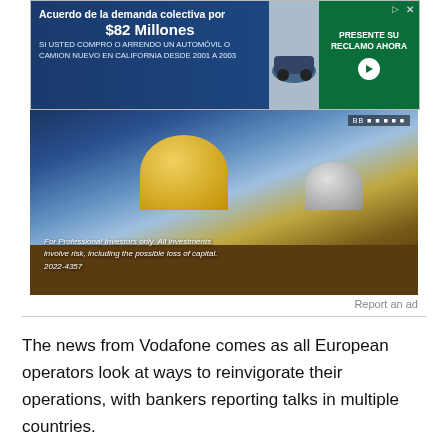[Figure (photo): Advertisement banner at top: 'Acuerdo de la demanda colectiva por $82 Millones' with green 'PRESENTE SU RECLAMO AHORA' button and car image]
[Figure (photo): Advertisement image showing observatory domes against a sky background with text 'For Professional Investors only. All investments involve risk, including the possible loss of capital. 2022-4357']
Report an ad
The news from Vodafone comes as all European operators look at ways to reinvigorate their operations, with bankers reporting talks in multiple countries.
Operators are hoping that regulators in Brussels will show greater awareness of the need to invest in networks after the pandemic. British regulator Ofcom said this week it was no longer ideologically-wedded to [Feedback] for four operators.